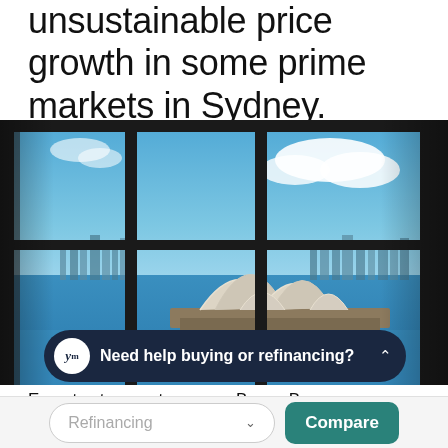unsustainable price growth in some prime markets in Sydney.
[Figure (photo): Photograph of Sydney Opera House viewed through a window frame with glass panels, blue sky and harbour in background, tilt-shift style photo.]
Need help buying or refinancing?
Experts at property agency BuyersBuyers are
Refinancing  Compare